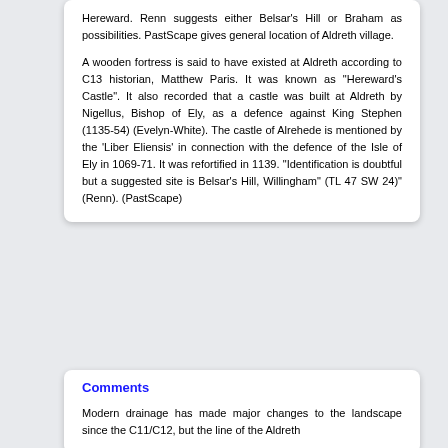Hereward. Renn suggests either Belsar's Hill or Braham as possibilities. PastScape gives general location of Aldreth village.

A wooden fortress is said to have existed at Aldreth according to C13 historian, Matthew Paris. It was known as "Hereward's Castle". It also recorded that a castle was built at Aldreth by Nigellus, Bishop of Ely, as a defence against King Stephen (1135-54) (Evelyn-White). The castle of Alrehede is mentioned by the 'Liber Eliensis' in connection with the defence of the Isle of Ely in 1069-71. It was refortified in 1139. "Identification is doubtful but a suggested site is Belsar's Hill, Willingham" (TL 47 SW 24)" (Renn). (PastScape)
Comments
Modern drainage has made major changes to the landscape since the C11/C12, but the line of the Aldreth...